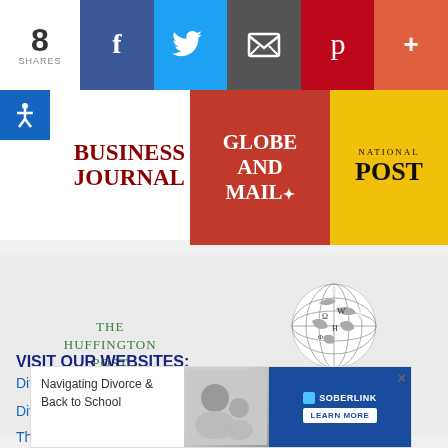[Figure (infographic): Social share bar with 8 shares count, Facebook, Twitter, Email, Pinterest, and More (+) buttons]
[Figure (logo): Business Journal logo in dark red serif text on white background]
[Figure (logo): Globe and Mail logo in white serif text on red background]
[Figure (logo): National Post logo in black serif text on yellow background]
[Figure (logo): The Huffington Post logo in green serif text]
[Figure (logo): Wikipedia globe logo with Wikipedia The Free Encyclopedia text]
VISIT OUR WEBSITES:
Divorce Marketing Group
Divorce
The Divorce School
[Figure (infographic): Advertisement banner: Navigating Divorce & Back to School with Soberlink Learn More button]